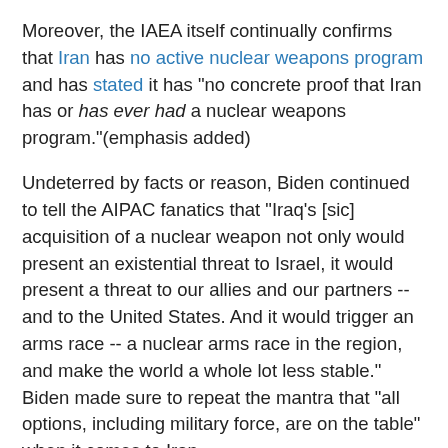Moreover, the IAEA itself continually confirms that Iran has no active nuclear weapons program and has stated it has "no concrete proof that Iran has or has ever had a nuclear weapons program."(emphasis added)
Undeterred by facts or reason, Biden continued to tell the AIPAC fanatics that "Iraq's [sic] acquisition of a nuclear weapon not only would present an existential threat to Israel, it would present a threat to our allies and our partners -- and to the United States. And it would trigger an arms race -- a nuclear arms race in the region, and make the world a whole lot less stable."  Biden made sure to repeat the mantra that "all options, including military force, are on the table" when it comes to Iran.
First, Biden's Iraq/Iran slip wasn't merely Freudian. Since the Iraq script from a decade ago is nearly identical to the Iran script now, it's unsurprising that Biden can't keep his manufactured threats straight.  One need only recall Biden's claims on Meet The Press in August 2002 that Saddam Hussein constituted "a long term threat and a short term threat to our national security" and "an extreme danger to the